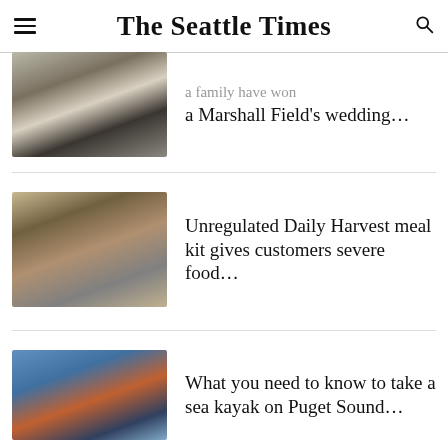The Seattle Times
[Figure (photo): Partial view of a group of women in formal dresses, one holding a bouquet of white flowers]
a Marshall Field’s wedding…
[Figure (photo): Woman standing at a kitchen sink cooking with pots on a stove]
Unregulated Daily Harvest meal kit gives customers severe food…
[Figure (photo): Person in orange and red dry suit and helmet paddling a black sea kayak in blue water]
What you need to know to take a sea kayak on Puget Sound…